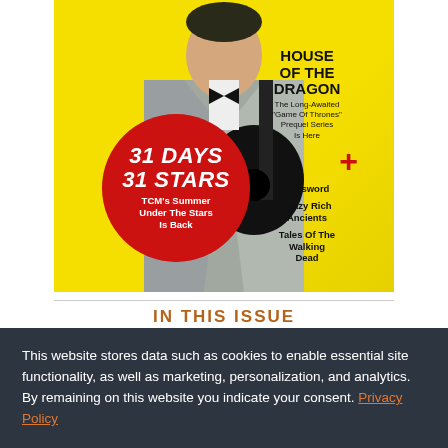[Figure (photo): Magazine cover showing a man in a grey suit holding a guitar against a yellow background, with a red circle overlay reading '31 Days 31 Stars TCM's Summer Under The Stars Is Back', and right-side text featuring 'House of the Dragon', 'Password+', 'Crazy Rich Ancients', 'Tales Of The Walking Dead']
IN THIS ISSUE
This website stores data such as cookies to enable essential site functionality, as well as marketing, personalization, and analytics. By remaining on this website you indicate your consent. Privacy Policy